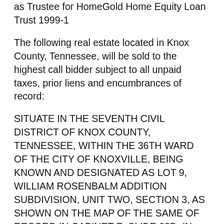as Trustee for HomeGold Home Equity Loan Trust 1999-1
The following real estate located in Knox County, Tennessee, will be sold to the highest call bidder subject to all unpaid taxes, prior liens and encumbrances of record:
SITUATE IN THE SEVENTH CIVIL DISTRICT OF KNOX COUNTY, TENNESSEE, WITHIN THE 36TH WARD OF THE CITY OF KNOXVILLE, BEING KNOWN AND DESIGNATED AS LOT 9, WILLIAM ROSENBALM ADDITION SUBDIVISION, UNIT TWO, SECTION 3, AS SHOWN ON THE MAP OF THE SAME OF RECORD IN CABINET E, SLIDE 68D, IN THE REGISTER'S OFFICE FOR KNOX COUNTY, TENNESSEE, SAID PROPERTY BEING BOUNDED AND DESCRIBED AS SHOWN ON MAP OF AFORESAID ADDITION TO WHICH MAP SPECIFIC REFERENCE IS HEREBY MADE FOR A MORE